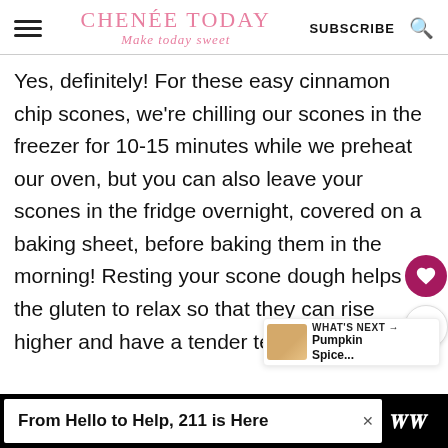CHENÉE TODAY — Make today sweet | SUBSCRIBE
Yes, definitely! For these easy cinnamon chip scones, we're chilling our scones in the freezer for 10-15 minutes while we preheat our oven, but you can also leave your scones in the fridge overnight, covered on a baking sheet, before baking them in the morning! Resting your scone dough helps the gluten to relax so that they can rise higher and have a tender texture.
[Figure (other): What's Next thumbnail: Pumpkin Spice...]
From Hello to Help, 211 is Here